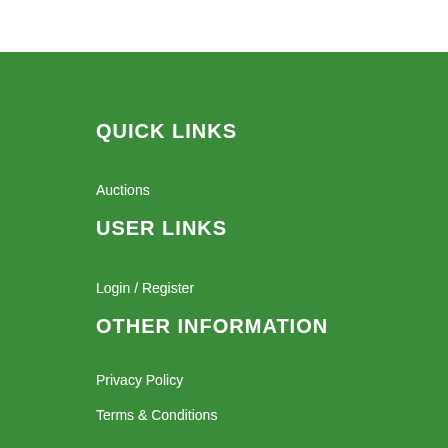QUICK LINKS
Auctions
USER LINKS
Login / Register
OTHER INFORMATION
Privacy Policy
Terms & Conditions
© 2022 powered by auctioneer SOFTWARE
Website Designed By Spectrum Net Designs